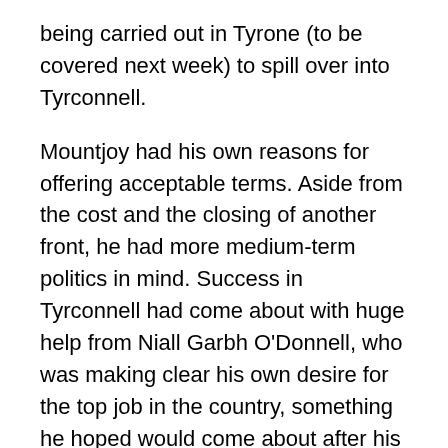being carried out in Tyrone (to be covered next week) to spill over into Tyrconnell.
Mountjoy had his own reasons for offering acceptable terms. Aside from the cost and the closing of another front, he had more medium-term politics in mind. Success in Tyrconnell had come about with huge help from Niall Garbh O'Donnell, who was making clear his own desire for the top job in the country, something he hoped would come about after his significant aid to the English side. But Niall Garbh was a firebrand, a decent fighter, a competent raider, and inspired much loyalty from his own troops. Indeed, he was more alike to Hugh Roe than Rory was. Having such a man in charge of Tyrconnell was not Mountjoy's preference, and so he offered Rory a pardon, peace and his lands – under an English title, English laws and English religion – if he would submit.